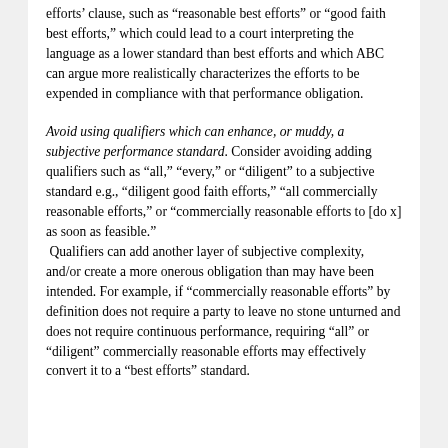efforts' clause, such as 'reasonable best efforts' or 'good faith best efforts,' which could lead to a court interpreting the language as a lower standard than best efforts and which ABC can argue more realistically characterizes the efforts to be expended in compliance with that performance obligation.
Avoid using qualifiers which can enhance, or muddy, a subjective performance standard. Consider avoiding adding qualifiers such as 'all,' 'every,' or 'diligent' to a subjective standard e.g., 'diligent good faith efforts,' 'all commercially reasonable efforts,' or 'commercially reasonable efforts to [do x] as soon as feasible.' Qualifiers can add another layer of subjective complexity, and/or create a more onerous obligation than may have been intended. For example, if 'commercially reasonable efforts' by definition does not require a party to leave no stone unturned and does not require continuous performance, requiring 'all' or 'diligent' commercially reasonable efforts may effectively convert it to a 'best efforts' standard.